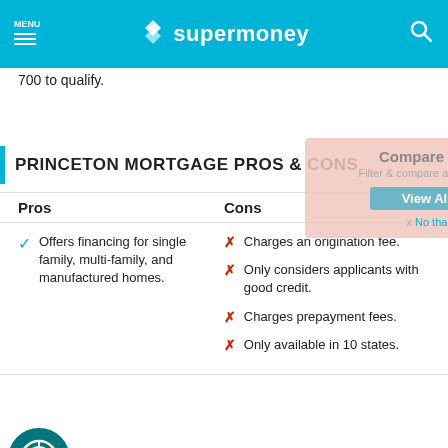MENU | supermoney
700 to qualify.
Compare All Home Loans
Filter & compare all your options in one place.
View All Home Loans
x No thanks, not right now
PRINCETON MORTGAGE PROS & CONS
| Pros | Cons |
| --- | --- |
| Offers financing for single family, multi-family, and manufactured homes. | Charges an origination fee. |
|  | Only considers applicants with good credit. |
|  | Charges prepayment fees. |
|  | Only available in 10 states. |
PRINCETON MORTGAGE FAQ